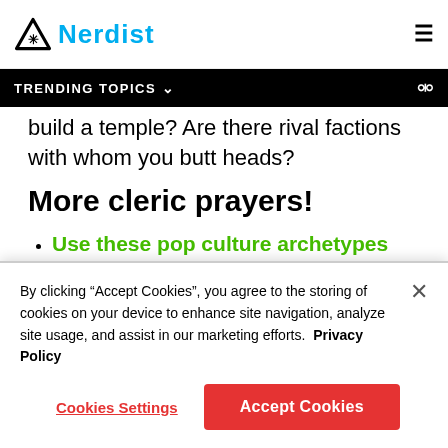Nerdist
TRENDING TOPICS
build a temple? Are there rival factions with whom you butt heads?
More cleric prayers!
Use these pop culture archetypes for inspiration for your Cleric!
The Complete Beginner's Guide To Starting A
By clicking “Accept Cookies”, you agree to the storing of cookies on your device to enhance site navigation, analyze site usage, and assist in our marketing efforts. Privacy Policy
Cookies Settings | Accept Cookies